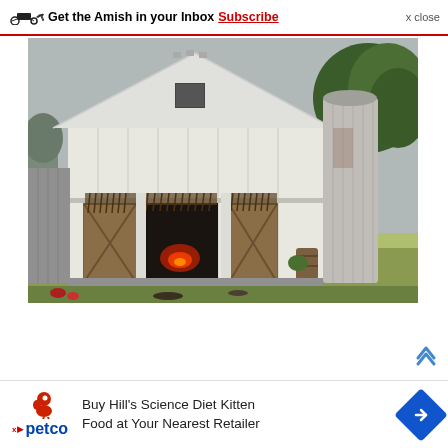Get the Amish in your Inbox Subscribe  x close
[Figure (photo): A white wooden barn with a metal roof and grain silo, tobacco hanging in open doorways, with a red glowing light inside, surrounded by green grass and trees on a cloudy day]
[Figure (infographic): Advertisement banner: Buy Hill's Science Diet Kitten Food at Your Nearest Retailer, with Petco logo and a blue diamond navigation arrow]